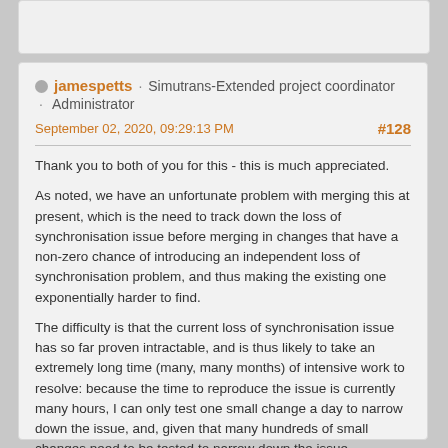jamespetts · Simutrans-Extended project coordinator · Administrator
September 02, 2020, 09:29:13 PM  #128
Thank you to both of you for this - this is much appreciated.
As noted, we have an unfortunate problem with merging this at present, which is the need to track down the loss of synchronisation issue before merging in changes that have a non-zero chance of introducing an independent loss of synchronisation problem, and thus making the existing one exponentially harder to find.
The difficulty is that the current loss of synchronisation issue has so far proven intractable, and is thus likely to take an extremely long time (many, many months) of intensive work to resolve: because the time to reproduce the issue is currently many hours, I can only test one small change a day to narrow down the issue, and, given that many hundreds of small changes need to be tested to narrow down the issue effectively, the amount of time